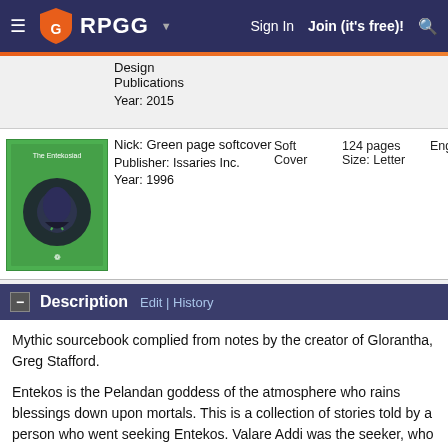RPGG | Sign In | Join (it's free)!
| Thumbnail | Nick/Publisher/Year | Binding | Pages/Size | Language |
| --- | --- | --- | --- | --- |
|  | Nick: (partial) Design Publications
Year: 2015 |  |  |  |
| [book image] | Nick: Green page softcover
Publisher: Issaries Inc.
Year: 1996 | Soft Cover | 124 pages
Size: Letter | English |
|  | Nick: Spiral-bound softcover
Publisher: Issaries Inc.
Year: 1996 | Spiral Bound
Product Code: IIS 3004 | 112 pages
Size: Letter | 1.00 pounds
English |
Description
Mythic sourcebook complied from notes by the creator of Glorantha, Greg Stafford.
Entekos is the Pelandan goddess of the atmosphere who rains blessings down upon mortals. This is a collection of stories told by a person who went seeking Entekos. Valare Addi was the seeker, who mistook her goddess Teelo Estara to be the same as Entekos.